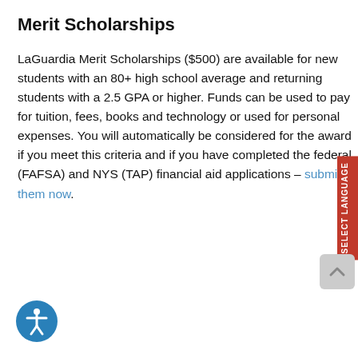Merit Scholarships
LaGuardia Merit Scholarships ($500) are available for new students with an 80+ high school average and returning students with a 2.5 GPA or higher. Funds can be used to pay for tuition, fees, books and technology or used for personal expenses. You will automatically be considered for the award if you meet this criteria and if you have completed the federal (FAFSA) and NYS (TAP) financial aid applications – submit them now.